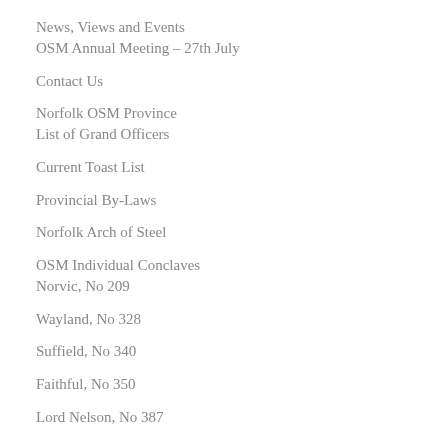News, Views and Events
OSM Annual Meeting – 27th July
Contact Us
Norfolk OSM Province
List of Grand Officers
Current Toast List
Provincial By-Laws
Norfolk Arch of Steel
OSM Individual Conclaves
Norvic, No 209
Wayland, No 328
Suffield, No 340
Faithful, No 350
Lord Nelson, No 387